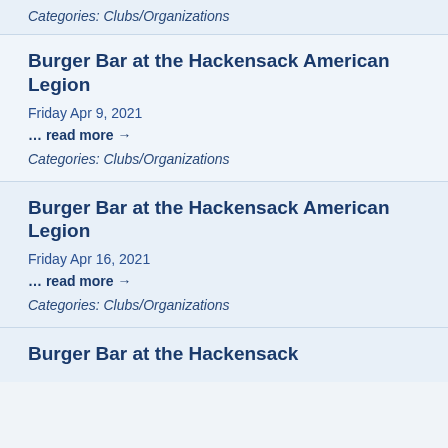Categories: Clubs/Organizations
Burger Bar at the Hackensack American Legion
Friday Apr 9, 2021
… read more →
Categories: Clubs/Organizations
Burger Bar at the Hackensack American Legion
Friday Apr 16, 2021
… read more →
Categories: Clubs/Organizations
Burger Bar at the Hackensack